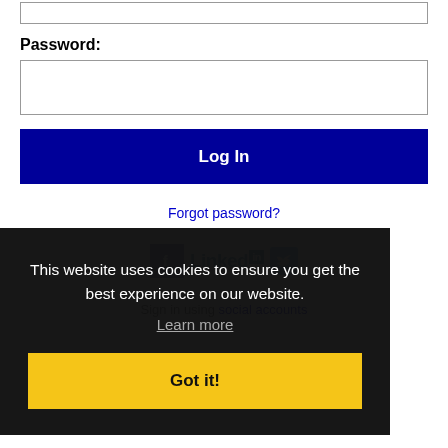Password:
[Figure (screenshot): Password input field (empty text box)]
Log In
Forgot password?
[Figure (other): Social login icons: Facebook, LinkedIn, Twitter]
This website uses cookies to ensure you get the best experience on our website.
Learn more
Got it!